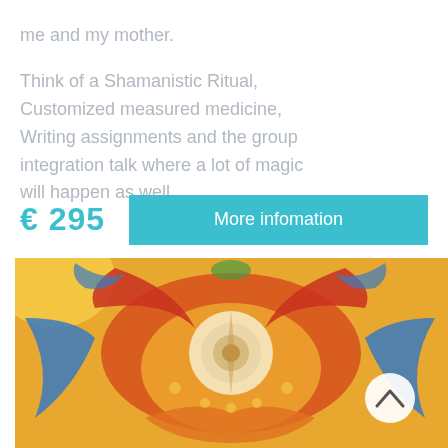me and my mother.

Think of a Shamanistic Ritual, Customized measured medicine, Writing assignments and the group integration talk where a lot of magic will happen as well.
€ 295
More infomation
[Figure (illustration): Colorful psychedelic mandala-style painting with vibrant reds, blues, yellows and oranges featuring symmetrical figures, birds, and intricate patterns. A white circular scroll-up button is overlaid in the lower right area.]